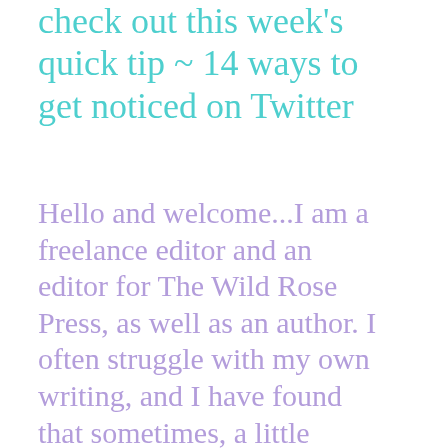check out this week's quick tip ~ 14 ways to get noticed on Twitter
Hello and welcome...I am a freelance editor and an editor for The Wild Rose Press, as well as an author. I often struggle with my own writing, and I have found that sometimes, a little reminder of ways to improve the process can be helpful, so, I like to share these moments of brilliance with others :) But in this...